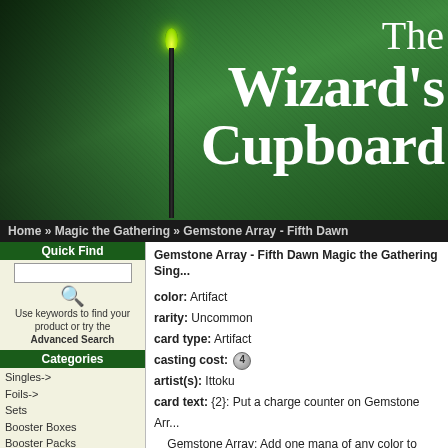[Figure (screenshot): The Wizard's Cupboard website header banner with green textured background, candle with flame on left, and white serif text reading 'The Wizard's Cupboard']
Home » Magic the Gathering » Gemstone Array - Fifth Dawn
Quick Find
Use keywords to find your product or try the Advanced Search
Categories
Singles->
Foils->
Sets
Booster Boxes
Booster Packs
Other Sealed Product
Specialty Items
Accessories
Other CCG's
Alternate Art Cards
Information
Blog
Dragon Sculptures
Company Details
Shipping & Returns
Gemstone Array - Fifth Dawn Magic the Gathering Single
color: Artifact
rarity: Uncommon
card type: Artifact
casting cost: 4
artist(s): Ittoku
card text: {2}: Put a charge counter on Gemstone Array. Gemstone Array: Add one mana of any color to your mana pool.
Fine Best
Current Reviews: 2